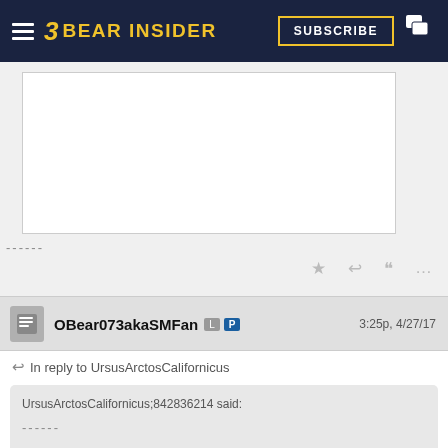BEAR INSIDER — SUBSCRIBE
[Figure (other): Partial white content box]
------
★ ↩ ❝ ...
OBear073akaSMFan L P  3:25p, 4/27/17
In reply to UrsusArctosCalifornicus
UrsusArctosCalifornicus;842836214 said:
------
[COLOR="#006699"]Another transfer out of [U]'SC[/U]:
Class of 2015 recruit Sydney Lofquist -> [U]Wisconsin[/U]